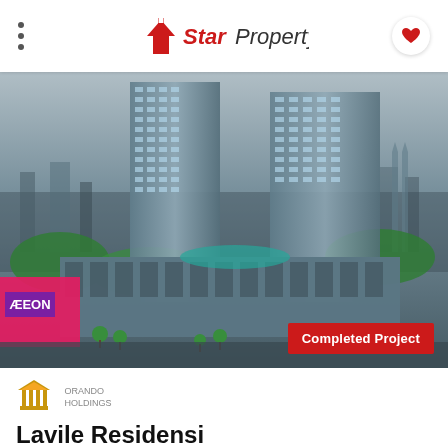StarProperty
[Figure (photo): Aerial rendering of Lavile Residensi high-rise twin towers with retail podium and pool deck, AEON mall visible on the left, city skyline in background at dusk]
Completed Project
[Figure (logo): Orando Holdings logo - building/columns icon in gold/orange color]
ORANDO
HOLDINGS
Lavile Residensi